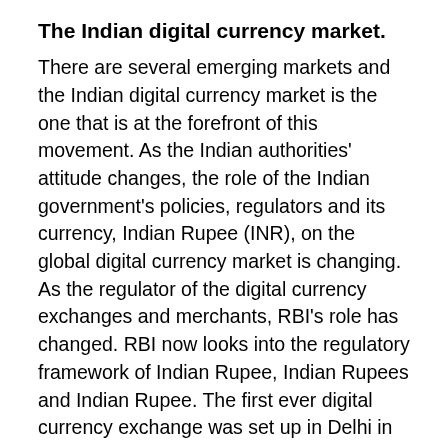The Indian digital currency market.
There are several emerging markets and the Indian digital currency market is the one that is at the forefront of this movement. As the Indian authorities' attitude changes, the role of the Indian government's policies, regulators and its currency, Indian Rupee (INR), on the global digital currency market is changing. As the regulator of the digital currency exchanges and merchants, RBI's role has changed. RBI now looks into the regulatory framework of Indian Rupee, Indian Rupees and Indian Rupee. The first ever digital currency exchange was set up in Delhi in